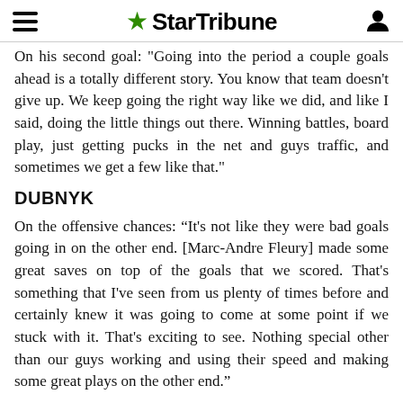StarTribune
On his second goal: "Going into the period a couple goals ahead is a totally different story. You know that team doesn't give up. We keep going the right way like we did, and like I said, doing the little things out there. Winning battles, board play, just getting pucks in the net and guys traffic, and sometimes we get a few like that."
DUBNYK
On the offensive chances: “It's not like they were bad goals going in on the other end. [Marc-Andre Fleury] made some great saves on top of the goals that we scored. That's something that I've seen from us plenty of times before and certainly knew it was going to come at some point if we stuck with it. That's exciting to see. Nothing special other than our guys working and using their speed and making some great plays on the other end.”
On Coyle’s first goal: “It was just a hard working play. It's